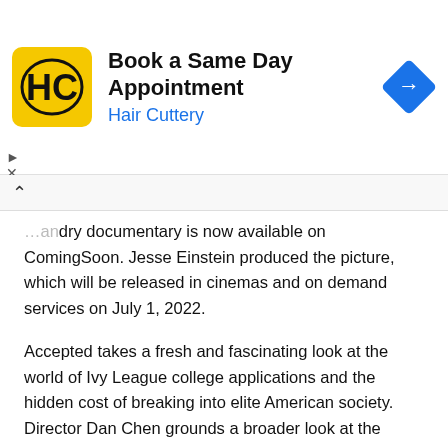[Figure (other): Hair Cuttery advertisement banner with yellow logo, title 'Book a Same Day Appointment', subtitle 'Hair Cuttery', and blue diamond navigation icon]
...ry documentary is now available on ComingSoon. Jesse Einstein produced the picture, which will be released in cinemas and on demand services on July 1, 2022.
Accepted takes a fresh and fascinating look at the world of Ivy League college applications and the hidden cost of breaking into elite American society. Director Dan Chen grounds a broader look at the injustices in the American education system with incredible access to T.M. Landry and the profoundly personal experiences of four vibrant kids striving to overcome endless obstacles to reach their aspirations